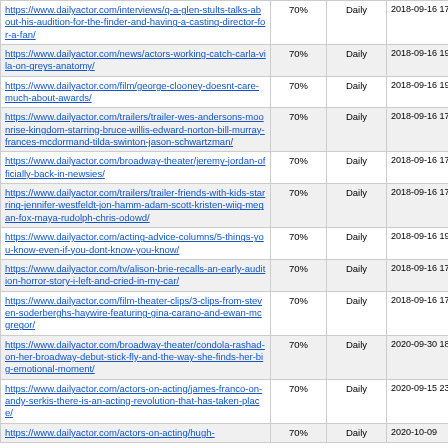| URL | Priority | Change Freq | Last Modified |
| --- | --- | --- | --- |
| https://www.dailyactor.com/interviews/q-a-glen-stults-talks-about-his-audition-for-the-finder-and-having-a-casting-director-for-a-fan/ | 70% | Daily | 2018-09-16 17:50 |
| https://www.dailyactor.com/news/actors-working-catch-carla-vila-on-greys-anatomy/ | 70% | Daily | 2018-09-16 19:50 |
| https://www.dailyactor.com/film/george-clooney-doesnt-care-much-about-awards/ | 70% | Daily | 2018-09-16 19:50 |
| https://www.dailyactor.com/trailers/trailer-wes-andersons-moonrise-kingdom-starring-bruce-willis-edward-norton-bill-murray-frances-mcdormand-tilda-swinton-jason-schwartzman/ | 70% | Daily | 2018-09-16 17:50 |
| https://www.dailyactor.com/broadway-theater/jeremy-jordan-officially-back-in-newsies/ | 70% | Daily | 2018-09-16 17:50 |
| https://www.dailyactor.com/trailers/trailer-friends-with-kids-starring-jennifer-westfeldt-jon-hamm-adam-scott-kristen-wiig-megan-fox-maya-rudolph-chris-odowd/ | 70% | Daily | 2018-09-16 17:50 |
| https://www.dailyactor.com/acting-advice-columns/5-things-you-know-even-if-you-dont-know-you-know/ | 70% | Daily | 2018-09-16 19:39 |
| https://www.dailyactor.com/tv/alison-brie-recalls-an-early-audition-horror-story-i-left-and-cried-in-my-car/ | 70% | Daily | 2018-09-16 17:30 |
| https://www.dailyactor.com/film-theater-clips/3-clips-from-steven-soderberghs-haywire-featuring-gina-carano-and-ewan-mcgregor/ | 70% | Daily | 2018-09-16 17:50 |
| https://www.dailyactor.com/broadway-theater/condola-rashad-on-her-broadway-debut-stick-fly-and-the-way-she-finds-her-big-emotional-moment/ | 70% | Daily | 2020-09-30 18:30 |
| https://www.dailyactor.com/actors-on-acting/james-franco-on-andy-serkis-there-is-an-acting-revolution-that-has-taken-place/ | 70% | Daily | 2020-09-15 23:09 |
| https://www.dailyactor.com/actors-on-acting/hugh-... | 70% | Daily | 2020-10-09 |